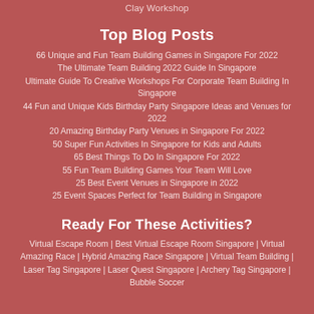Clay Workshop
Top Blog Posts
66 Unique and Fun Team Building Games in Singapore For 2022
The Ultimate Team Building 2022 Guide In Singapore
Ultimate Guide To Creative Workshops For Corporate Team Building In Singapore
44 Fun and Unique Kids Birthday Party Singapore Ideas and Venues for 2022
20 Amazing Birthday Party Venues in Singapore For 2022
50 Super Fun Activities In Singapore for Kids and Adults
65 Best Things To Do In Singapore For 2022
55 Fun Team Building Games Your Team Will Love
25 Best Event Venues in Singapore in 2022
25 Event Spaces Perfect for Team Building in Singapore
Ready For These Activities?
Virtual Escape Room | Best Virtual Escape Room Singapore | Virtual Amazing Race | Hybrid Amazing Race Singapore | Virtual Team Building | Laser Tag Singapore | Laser Quest Singapore | Archery Tag Singapore | Bubble Soccer